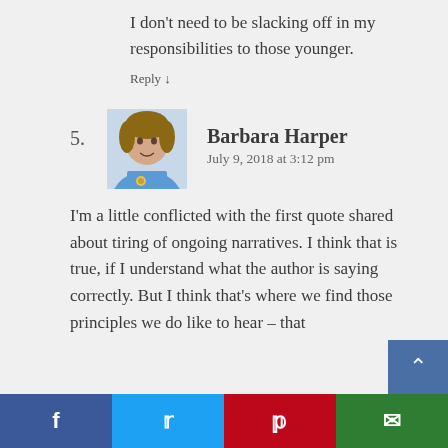I don't need to be slacking off in my responsibilities to those younger.
Reply ↓
5.
[Figure (photo): Profile photo of Barbara Harper, a woman in a blue shirt]
Barbara Harper
July 9, 2018 at 3:12 pm
I'm a little conflicted with the first quote shared about tiring of ongoing narratives. I think that is true, if I understand what the author is saying correctly. But I think that's where we find those principles we do like to hear – that